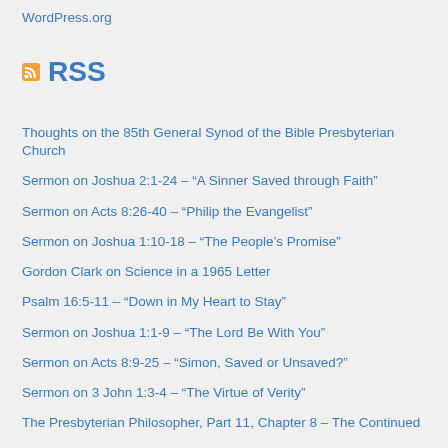WordPress.org
RSS
Thoughts on the 85th General Synod of the Bible Presbyterian Church
Sermon on Joshua 2:1-24 – “A Sinner Saved through Faith”
Sermon on Acts 8:26-40 – “Philip the Evangelist”
Sermon on Joshua 1:10-18 – “The People’s Promise”
Gordon Clark on Science in a 1965 Letter
Psalm 16:5-11 – “Down in My Heart to Stay”
Sermon on Joshua 1:1-9 – “The Lord Be With You”
Sermon on Acts 8:9-25 – “Simon, Saved or Unsaved?”
Sermon on 3 John 1:3-4 – “The Virtue of Verity”
The Presbyterian Philosopher, Part 11, Chapter 8 – The Continued